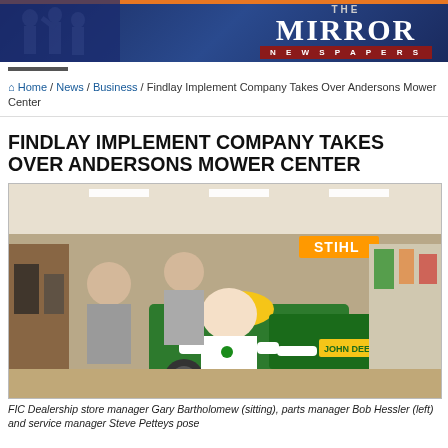THE MIRROR NEWSPAPERS
Home / News / Business / Findlay Implement Company Takes Over Andersons Mower Center
FINDLAY IMPLEMENT COMPANY TAKES OVER ANDERSONS MOWER CENTER
[Figure (photo): Three men posing inside a John Deere dealership store with STIHL products visible in the background. One man in white shirt sits on a green John Deere tractor in the foreground, two men in grey shirts stand behind.]
FIC Dealership store manager Gary Bartholomew (sitting), parts manager Bob Hessler (left) and service manager Steve Petteys pose